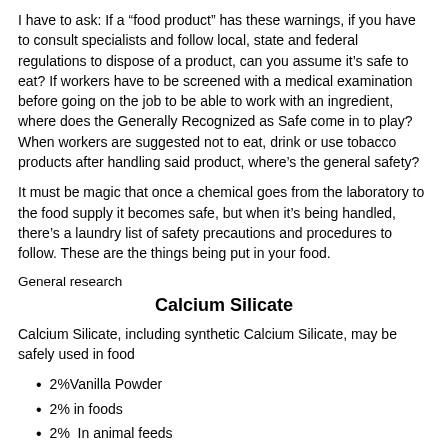I have to ask: If a “food product” has these warnings, if you have to consult specialists and follow local, state and federal regulations to dispose of a product, can you assume it’s safe to eat? If workers have to be screened with a medical examination before going on the job to be able to work with an ingredient, where does the Generally Recognized as Safe come in to play? When workers are suggested not to eat, drink or use tobacco products after handling said product, where’s the general safety?
It must be magic that once a chemical goes from the laboratory to the food supply it becomes safe, but when it’s being handled, there’s a laundry list of safety precautions and procedures to follow. These are the things being put in your food.
General research
Calcium Silicate
Calcium Silicate, including synthetic Calcium Silicate, may be safely used in food
2%Vanilla Powder
2% in foods
2%  In animal feeds
5% in baking powder